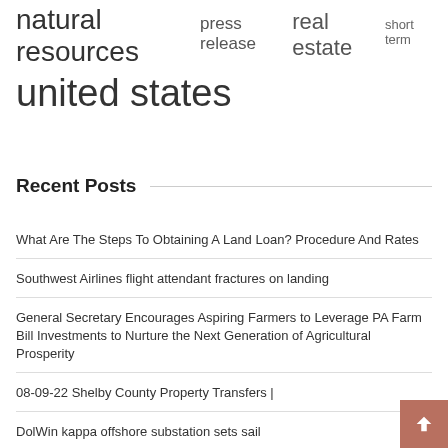natural resources  press release  real estate  short term
united states
Recent Posts
What Are The Steps To Obtaining A Land Loan? Procedure And Rates
Southwest Airlines flight attendant fractures on landing
General Secretary Encourages Aspiring Farmers to Leverage PA Farm Bill Investments to Nurture the Next Generation of Agricultural Prosperity
08-09-22 Shelby County Property Transfers |
DolWin kappa offshore substation sets sail
‘Ano na?’